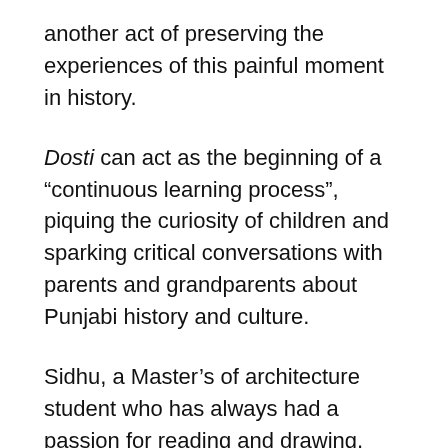another act of preserving the experiences of this painful moment in history.
Dosti can act as the beginning of a “continuous learning process”, piquing the curiosity of children and sparking critical conversations with parents and grandparents about Punjabi history and culture.
Sidhu, a Master’s of architecture student who has always had a passion for reading and drawing, said her experience working in the education system and at Chapters made her aware of the lack of stories available for Punjabi children.
Sidhu herself moved to Canada from Punjab at